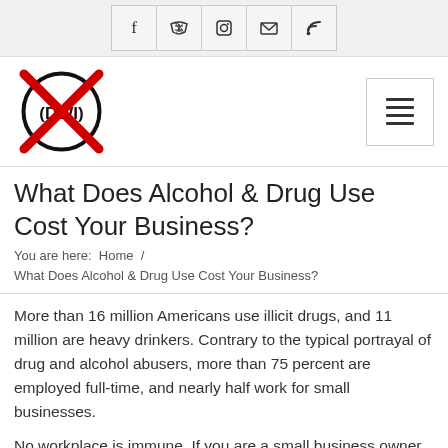Social media icons: Facebook, Twitter, Instagram, Email, RSS
[Figure (logo): DWI logo: black circle with 'DWI' text inside, overlaid with a red X cross mark]
What Does Alcohol & Drug Use Cost Your Business?
You are here:  Home /  What Does Alcohol & Drug Use Cost Your Business?
More than 16 million Americans use illicit drugs, and 11 million are heavy drinkers. Contrary to the typical portrayal of drug and alcohol abusers, more than 75 percent are employed full-time, and nearly half work for small businesses.
No workplace is immune. If you are a small business owner, statistics show that one out of every ten of your workers is a